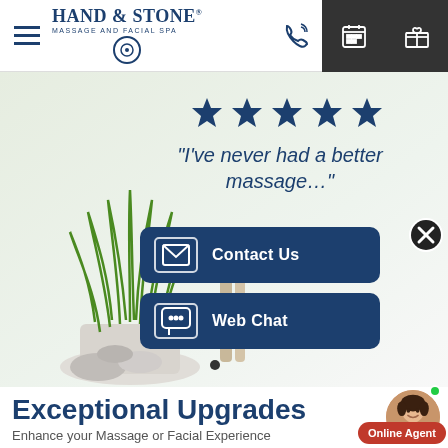Hand & Stone Massage and Facial Spa — navigation header with phone, calendar, and gift icons
[Figure (screenshot): Hero section with spa plant and stones background, five dark blue stars, italic quote text 'I've never had a better massage…', Contact Us button, Web Chat button, close button overlay, and dot indicator]
Exceptional Upgrades
Enhance your Massage or Facial Experience
[Figure (photo): Agent avatar circle photo of a smiling woman with green online indicator and Online Agent red button label]